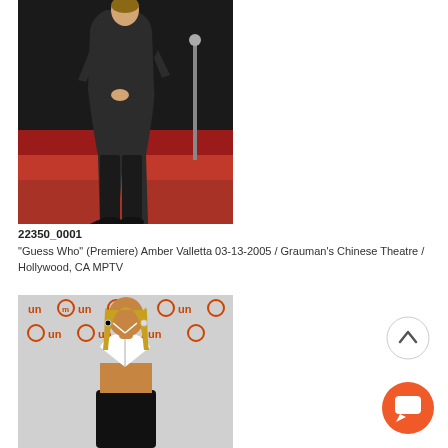[Figure (photo): Woman in dark outfit standing on red carpet at a premiere event]
22350_0001
"Guess Who" (Premiere) Amber Valletta 03-13-2005 / Grauman's Chinese Theatre / Hollywood, CA MPTV
[Figure (photo): Woman in white bikini top and black leather pants posing in front of a branded step-and-repeat backdrop with 'un' and circular logos]
[Figure (other): Scroll-up circular button icon]
[Figure (other): Orange circular chat/comment button icon]